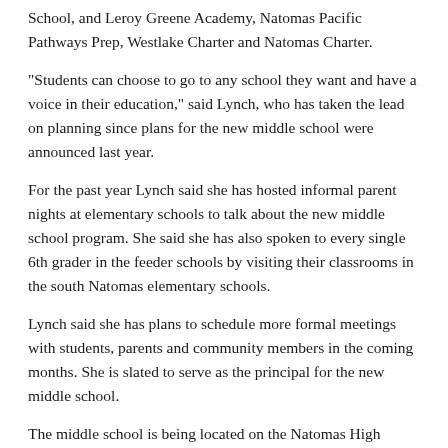School, and Leroy Greene Academy, Natomas Pacific Pathways Prep, Westlake Charter and Natomas Charter.
“Students can choose to go to any school they want and have a voice in their education,” said Lynch, who has taken the lead on planning since plans for the new middle school were announced last year.
For the past year Lynch said she has hosted informal parent nights at elementary schools to talk about the new middle school program. She said she has also spoken to every single 6th grader in the feeder schools by visiting their classrooms in the south Natomas elementary schools.
Lynch said she has plans to schedule more formal meetings with students, parents and community members in the coming months. She is slated to serve as the principal for the new middle school.
The middle school is being located on the Natomas High campus to save money on construction, according to Beebe and Lynch. Its location far from the central part of the campus is the safest and most efficient, they said.